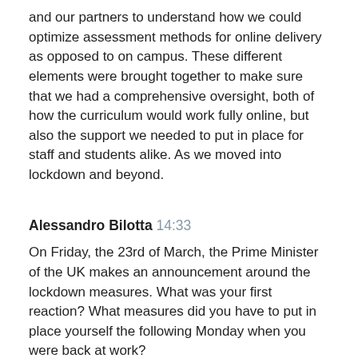and our partners to understand how we could optimize assessment methods for online delivery as opposed to on campus. These different elements were brought together to make sure that we had a comprehensive oversight, both of how the curriculum would work fully online, but also the support we needed to put in place for staff and students alike. As we moved into lockdown and beyond.
Alessandro Bilotta 14:33
On Friday, the 23rd of March, the Prime Minister of the UK makes an announcement around the lockdown measures. What was your first reaction? What measures did you have to put in place yourself the following Monday when you were back at work?